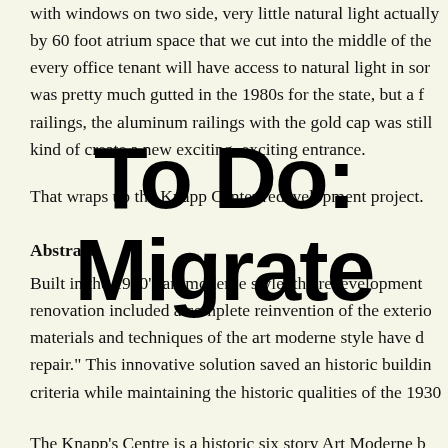with windows on two side, very little natural light actually by 60 foot atrium space that we cut into the middle of the every office tenant will have access to natural light in some was pretty much gutted in the 1980s for the state, but a f railings, the aluminum railings with the gold cap was still kind of create a new exciting, exciting entrance.
That wraps up the Knapp Center redevelopment project.
Abstract:
Built in the 1930's art moderne style, the redevelopment renovation included a complete reinvention of the exterior materials and techniques of the art moderne style have d repair." This innovative solution saved an historic building criteria while maintaining the historic qualities of the 1930
The Knapp's Centre is a historic six story Art Moderne b